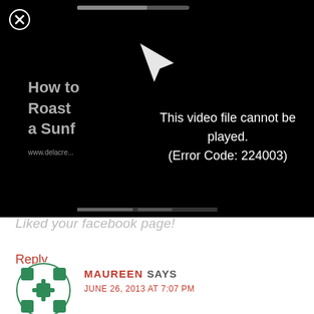[Figure (screenshot): Video player showing error message: 'This video file cannot be played. (Error Code: 224003)' on black background. Partially visible text on left reads 'How to Roast a Sunf' with URL 'www.delacre...' . A close button (X in circle) is top-left, play arrow icon visible, and progress bars at top and bottom.]
Liked your facebook page!
Reply
MAUREEN SAYS
JUNE 26, 2013 AT 7:07 PM
We don't like we LOVE Fort Magic on Facebook! My three kiddos think this is so cool!